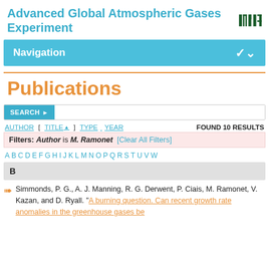Advanced Global Atmospheric Gases Experiment
Navigation
Publications
SEARCH
AUTHOR [ TITLE ] TYPE YEAR    FOUND 10 RESULTS
Filters: Author is M. Ramonet [Clear All Filters]
A B C D E F G H I J K L M N O P Q R S T U V W
B
Simmonds, P. G., A. J. Manning, R. G. Derwent, P. Ciais, M. Ramonet, V. Kazan, and D. Ryall. "A burning question. Can recent growth rate anomalies in the greenhouse gases be